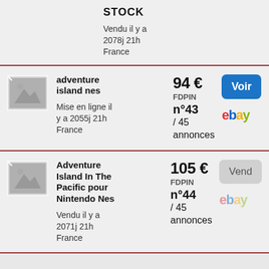STOCK
Vendu il y a 2078j 21h
France
adventure island nes | 94 € FDPIN n°43 / 45 annonces | Mise en ligne il y a 2055j 21h France | Voir
Adventure Island In The Pacific pour Nintendo Nes | 105 € FDPIN n°44 / 45 annonces | Vendu il y a 2071j 21h France | Vendu